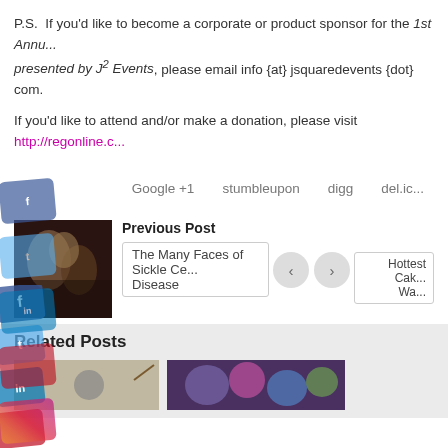P.S.  If you'd like to become a corporate or product sponsor for the 1st Annu... presented by J² Events, please email info {at} jsquaredevents {dot} com.
If you'd like to attend and/or make a donation, please visit http://regonline.c...
Google +1   stumbleupon   digg   del.ic...
Previous Post
The Many Faces of Sickle Ce... Disease
Hottest Cak... Wa...
Related Posts
[Figure (photo): Thumbnail image of food/cake, dark tones]
[Figure (photo): Colorful cake/flowers image in related posts section]